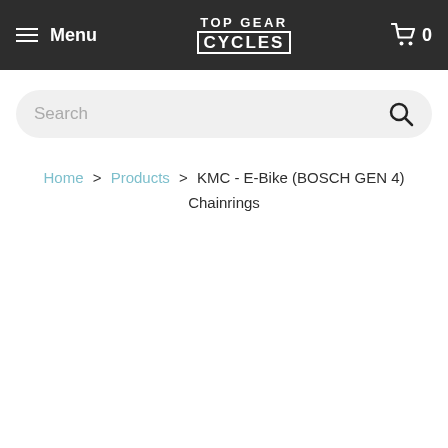Menu  TOP GEAR CYCLES  0
Search
Home > Products > KMC - E-Bike (BOSCH GEN 4) Chainrings